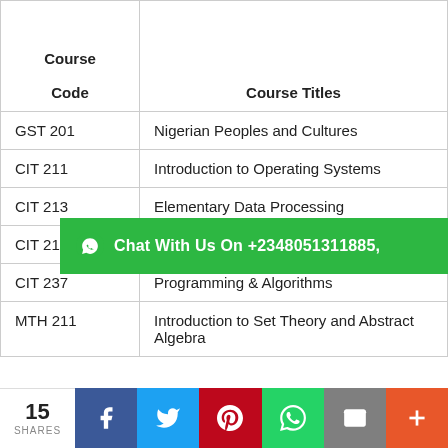| Course

Code | Course Titles |
| --- | --- |
| GST 201 | Nigerian Peoples and Cultures |
| CIT 211 | Introduction to Operating Systems |
| CIT 213 | Elementary Data Processing |
| CIT 215 | Introduction to Programming Languages |
| CIT 237 | Programming & Algorithms |
| MTH 211 | Introduction to Set Theory and Abstract Algebra |
Chat With Us On +2348051311885,
15 SHARES | Facebook | Twitter | Pinterest | WhatsApp | Email | More